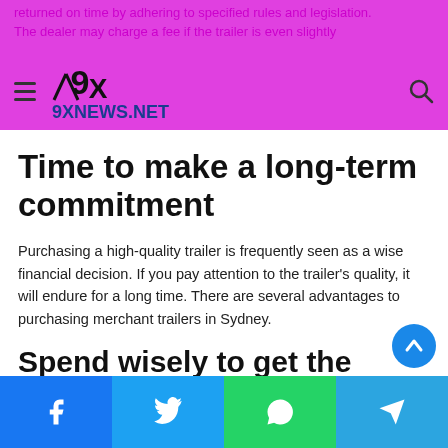9XNEWS.NET
returned on time by adhering to specified rules and legislation. The dealer may charge a fee if the trailer is even slightly...
Time to make a long-term commitment
Purchasing a high-quality trailer is frequently seen as a wise financial decision. If you pay attention to the trailer's quality, it will endure for a long time. There are several advantages to purchasing merchant trailers in Sydney.
Spend wisely to get the most out of your resources
Facebook | Twitter | WhatsApp | Telegram